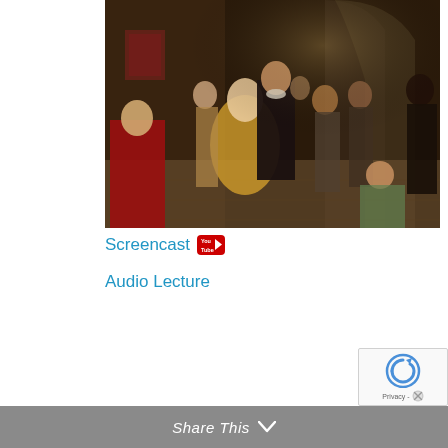[Figure (illustration): Historical painting depicting Columbus before the Spanish monarchs court. A large crowd of courtiers, nobles, clergy, and indigenous people are gathered in a grand hall with arched stone architecture. Columbus stands in dark robes in the center, facing the seated royals.]
Screencast [YouTube icon]
Audio Lecture
Share This ∨